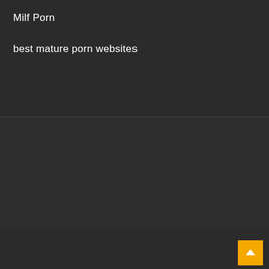Milf Porn
best mature porn websites
Home
© Copyright 2022 All rights reserved.